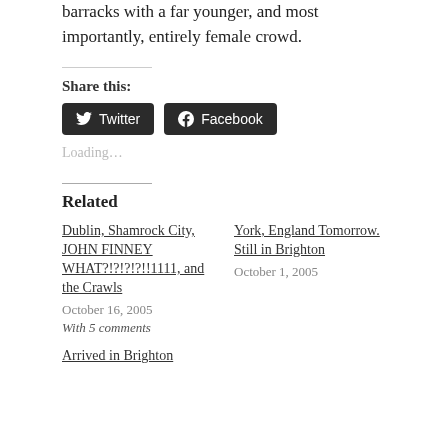barracks with a far younger, and most importantly, entirely female crowd.
Share this:
[Figure (other): Twitter and Facebook share buttons]
Loading…
Related
Dublin, Shamrock City, JOHN FINNEY WHAT?!?!?!?!!1111, and the Crawls
October 16, 2005
With 5 comments
York, England Tomorrow. Still in Brighton
October 1, 2005
Arrived in Brighton